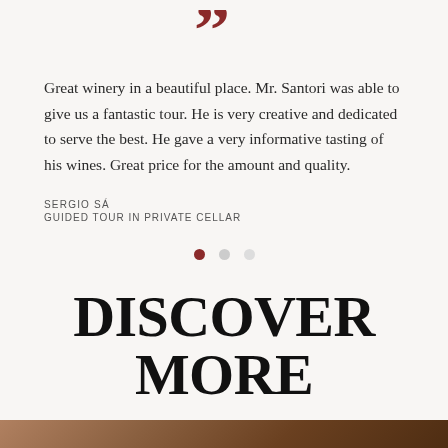[Figure (illustration): Large decorative closing double quotation mark in dark red/maroon color]
Great winery in a beautiful place. Mr. Santori was able to give us a fantastic tour. He is very creative and dedicated to serve the best. He gave a very informative tasting of his wines. Great price for the amount and quality.
SERGIO SÁ
GUIDED TOUR IN PRIVATE CELLAR
[Figure (infographic): Three pagination dots: first dot is filled dark red (active), second and third are light grey (inactive)]
DISCOVER MORE
[Figure (photo): Partial bottom photo showing warm brown tones, appears to be wine barrels or winery interior]